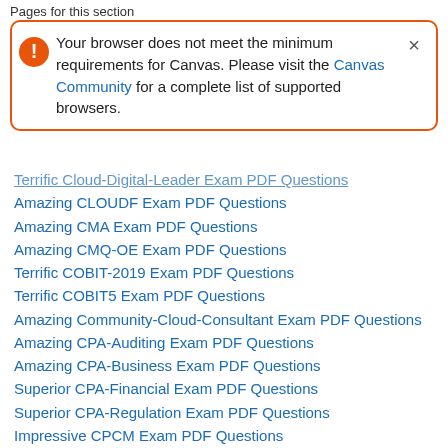Pages for this section
Your browser does not meet the minimum requirements for Canvas. Please visit the Canvas Community for a complete list of supported browsers.
Terrific Cloud-Digital-Leader Exam PDF Questions
Amazing CLOUDF Exam PDF Questions
Amazing CMA Exam PDF Questions
Amazing CMQ-OE Exam PDF Questions
Terrific COBIT-2019 Exam PDF Questions
Terrific COBIT5 Exam PDF Questions
Amazing Community-Cloud-Consultant Exam PDF Questions
Amazing CPA-Auditing Exam PDF Questions
Amazing CPA-Business Exam PDF Questions
Superior CPA-Financial Exam PDF Questions
Superior CPA-Regulation Exam PDF Questions
Impressive CPCM Exam PDF Questions
Superior CPEA Exam PDF Questions
Superior CPEQ Exam PDF Questions